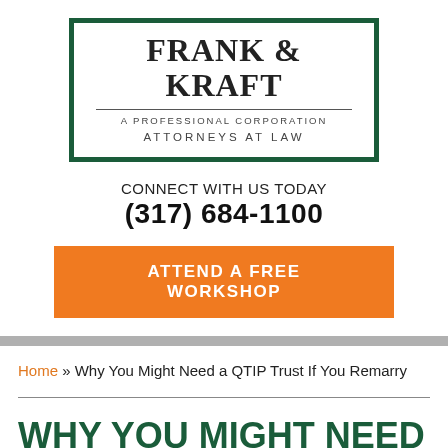[Figure (logo): Frank & Kraft law firm logo with dark green border, firm name in serif font, subtitle 'A Professional Corporation Attorneys at Law']
CONNECT WITH US TODAY
(317) 684-1100
ATTEND A FREE WORKSHOP
Home » Why You Might Need a QTIP Trust If You Remarry
WHY YOU MIGHT NEED A QTIP TRUST IF YOU